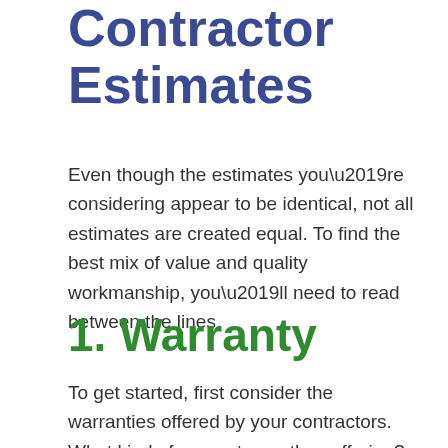Contractor Estimates
Even though the estimates you’re considering appear to be identical, not all estimates are created equal. To find the best mix of value and quality workmanship, you’ll need to read between the lines.
1. Warranty
To get started, first consider the warranties offered by your contractors. What kind of warranty are they offering? What are the lengths of the warranties? For example, some warranties cover the materials themselves and some cover the workmanship of your new roof. Since most damages can be linked directly to poor installation, it’s important that the warranty